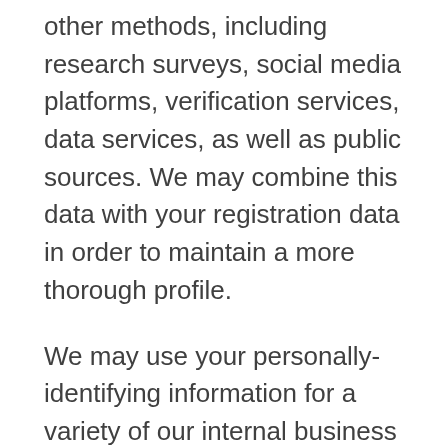other methods, including research surveys, social media platforms, verification services, data services, as well as public sources. We may combine this data with your registration data in order to maintain a more thorough profile.
We may use your personally-identifying information for a variety of our internal business purposes, such as creating a better user experience for the Site, diagnosing and troubleshooting malfunctions on the Site, better understanding how the Site is used, and making personalized recommendations to you.
If you are a resident of a country in the European